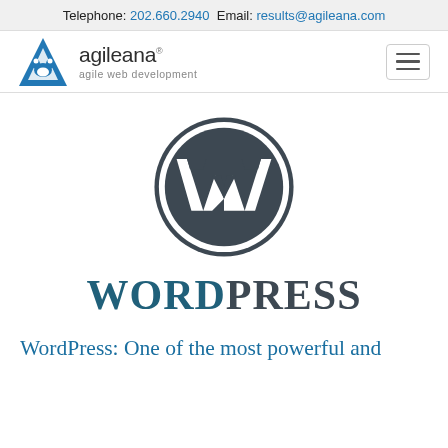Telephone: 202.660.2940 Email: results@agileana.com
[Figure (logo): Agileana logo with blue triangular mountain icon, brand name 'agileana' with registered mark, tagline 'agile web development', and hamburger menu button]
[Figure (logo): WordPress logo: circular dark gray badge with stylized W letterform, and 'WordPress' wordmark in teal and dark gray serif lettering below]
WordPress: One of the most powerful and